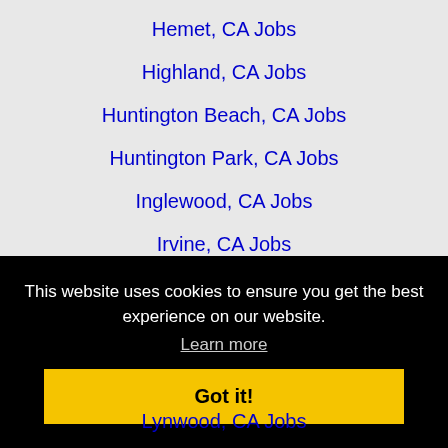Hemet, CA Jobs
Highland, CA Jobs
Huntington Beach, CA Jobs
Huntington Park, CA Jobs
Inglewood, CA Jobs
Irvine, CA Jobs
La Habra, CA Jobs
La Mirada, CA Jobs
La Puente, CA Jobs
Laguna Beach, CA Jobs (partial)
This website uses cookies to ensure you get the best experience on our website.
Learn more
Got it!
Lynwood, CA Jobs